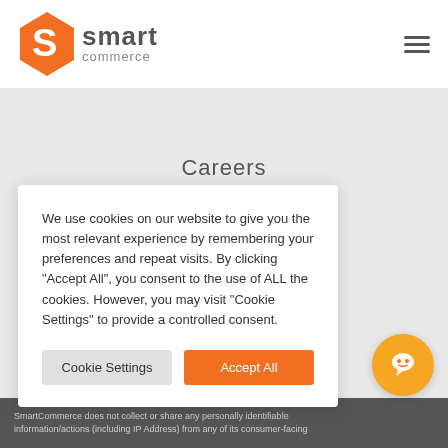[Figure (logo): Smart Commerce logo with orange diamond S icon and grey 'smart commerce' text]
Careers
We use cookies on our website to give you the most relevant experience by remembering your preferences and repeat visits. By clicking “Accept All”, you consent to the use of ALL the cookies. However, you may visit “Cookie Settings” to provide a controlled consent.
SmartCommerce does not collect or share any personally identifiable information/actions (including IP Address) from any of its consumer-facing
SmartCommerce does not collect or share any personally identifiable information/actions (including IP Address) from any of its consumer-facing